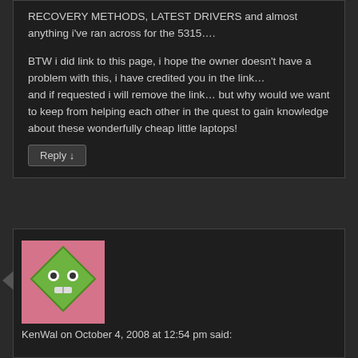RECOVERY METHODS, LATEST DRIVERS and almost anything i've ran across for the 5315….
BTW i did link to this page, i hope the owner doesn't have a problem with this, i have credited you in the link…
and if requested i will remove the link… but why would we want to keep from helping each other in the quest to gain knowledge about these wonderfully cheap little laptops!
Reply ↓
[Figure (illustration): Green diamond-shaped cartoon avatar with eyes and a bandage/cross symbol on a pink/rose background]
KenWal on October 4, 2008 at 12:54 pm said:
Thanks for taking the time to do this explanation. It was very useful when removing my acer 5031...